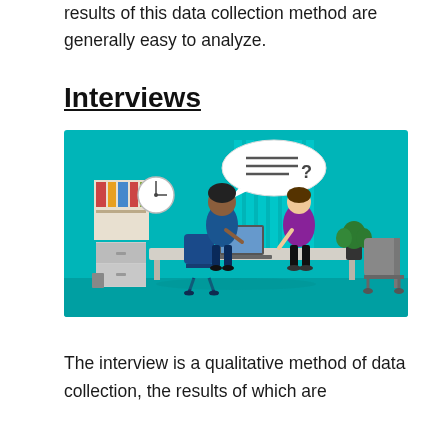results of this data collection method are generally easy to analyze.
Interviews
[Figure (illustration): Illustrated image of two people having an interview across a desk in an office setting with teal background. One person (interviewer) is at a laptop, a speech bubble with lines and a question mark appears above. Office furniture, bookshelves, a clock, and a plant are visible in the background.]
The interview is a qualitative method of data collection, the results of which are